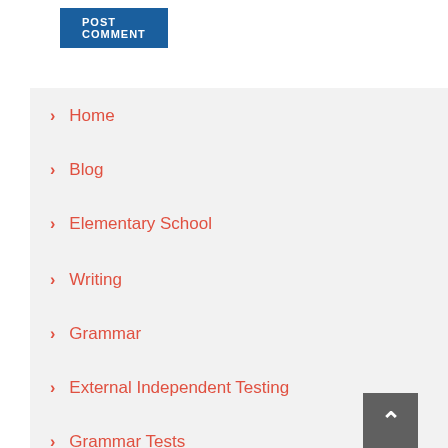POST COMMENT
Home
Blog
Elementary School
Writing
Grammar
External Independent Testing
Grammar Tests
Grammar Exercisers